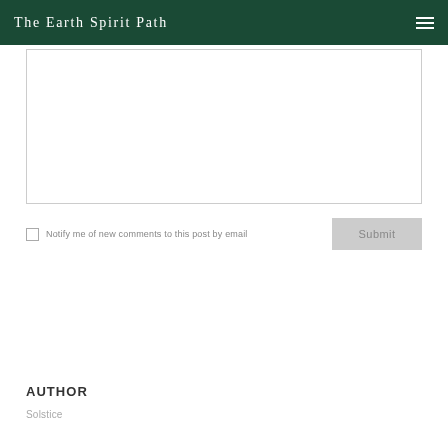The Earth Spirit Path
[Comment textarea]
Notify me of new comments to this post by email
Submit
AUTHOR
Solstice